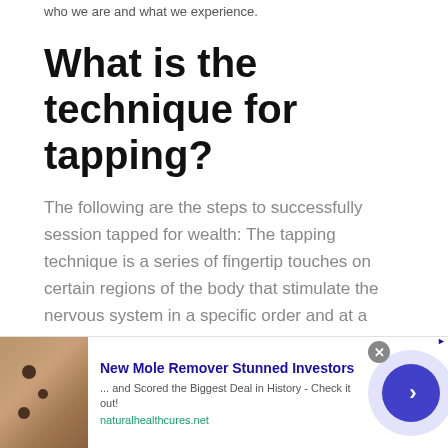who we are and what we experience.
What is the technique for tapping?
The following are the steps to successfully session tapped for wealth: The tapping technique is a series of fingertip touches on certain regions of the body that stimulate the nervous system in a specific order and at a specific time, resulting in
[Figure (photo): Advertisement banner with photo of skin moles, headline 'New Mole Remover Stunned Investors', subtext '... and Scored the Biggest Deal in History - Check it out!', URL 'naturalhealthcures.net', close button and arrow navigation button]